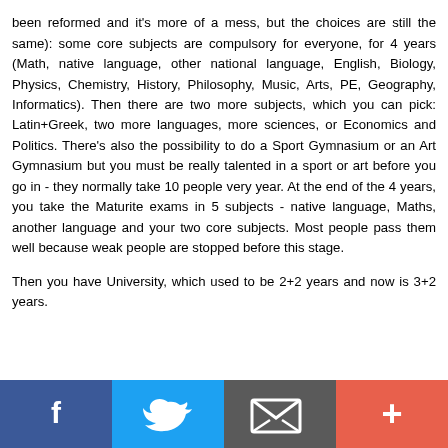been reformed and it's more of a mess, but the choices are still the same): some core subjects are compulsory for everyone, for 4 years (Math, native language, other national language, English, Biology, Physics, Chemistry, History, Philosophy, Music, Arts, PE, Geography, Informatics). Then there are two more subjects, which you can pick: Latin+Greek, two more languages, more sciences, or Economics and Politics. There's also the possibility to do a Sport Gymnasium or an Art Gymnasium but you must be really talented in a sport or art before you go in - they normally take 10 people very year. At the end of the 4 years, you take the Maturite exams in 5 subjects - native language, Maths, another language and your two core subjects. Most people pass them well because weak people are stopped before this stage.
Then you have University, which used to be 2+2 years and now is 3+2 years.
[Figure (infographic): Social media sharing bar with four buttons: Facebook (blue), Twitter (light blue), Email/envelope (dark gray), and Plus/more (orange-red)]